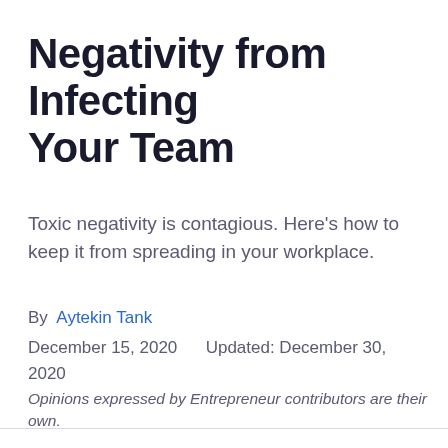Negativity from Infecting Your Team
Toxic negativity is contagious. Here's how to keep it from spreading in your workplace.
By Aytekin Tank
December 15, 2020     Updated: December 30, 2020
Opinions expressed by Entrepreneur contributors are their own.